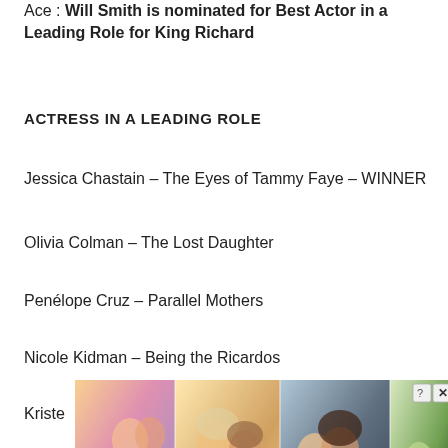Ace : Will Smith is nominated for Best Actor in a Leading Role for King Richard
ACTRESS IN A LEADING ROLE
Jessica Chastain – The Eyes of Tammy Faye – WINNER
Olivia Colman – The Lost Daughter
Penélope Cruz – Parallel Mothers
Nicole Kidman – Being the Ricardos
Kriste...
[Figure (illustration): Advertisement overlay showing the Whispers game/app with illustrated romantic scenes and the Whispers logo in pink text. Has a close (X) button and help (?) button in top right corner.]